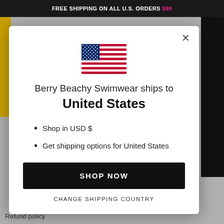FREE SHIPPING ON ALL U.S. ORDERS $99
[Figure (illustration): US flag icon centered in modal]
Berry Beachy Swimwear ships to United States
Shop in USD $
Get shipping options for United States
SHOP NOW
CHANGE SHIPPING COUNTRY
Refund policy